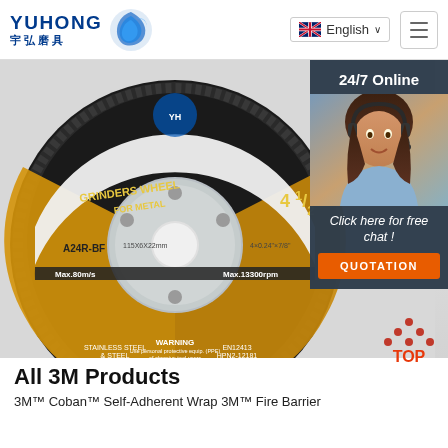YUHONG 宇弘磨具 | English | Menu
[Figure (photo): A grinding wheel / abrasive disc for metal, labeled GRINDERS WHEEL FOR METAL, A24R-BF, 4.5 inch, 115x6x22mm, Max.80m/s, Max.13300rpm, with safety icons and WARNING text. Yellow and black color scheme.]
[Figure (photo): 24/7 Online customer service sidebar with woman wearing headset, 'Click here for free chat!' text and orange QUOTATION button]
[Figure (infographic): Red TOP arrow button to scroll to top of page]
All 3M Products
3M™ Coban™ Self-Adherent Wrap 3M™ Fire Barrier